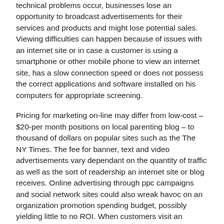technical problems occur, businesses lose an opportunity to broadcast advertisements for their services and products and might lose potential sales. Viewing difficulties can happen because of issues with an internet site or in case a customer is using a smartphone or other mobile phone to view an internet site, has a slow connection speed or does not possess the correct applications and software installed on his computers for appropriate screening.
Pricing for marketing on-line may differ from low-cost – $20-per month positions on local parenting blog – to thousand of dollars on popular sites such as the The NY Times. The fee for banner, text and video advertisements vary dependant on the quantity of traffic as well as the sort of readership an internet site or blog receives. Online advertising through ppc campaigns and social network sites could also wreak havoc on an organization promotion spending budget, possibly yielding little to no ROI. When customers visit an internet site, they often possess a goal at heart, be it to catch up on the newest celeb gossip, read the news, chat with buddies, download music or shop for a particular item.
Websites present clients with various options that may easily